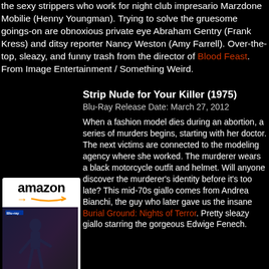the sexy strippers who work for night club impresario Marzdone Mobilie (Henny Youngman). Trying to solve the gruesome goings-on are obnoxious private eye Abraham Gentry (Frank Kress) and ditsy reporter Nancy Weston (Amy Farrell). Over-the-top, sleazy, and funny trash from the director of Blood Feast. From Image Entertainment / Something Weird.
[Figure (other): Amazon product widget showing a Blu-ray cover of 'Strip Nude for Your Killer' with amazon branding, price $15.33, Prime badge, and Shop now button]
Strip Nude for Your Killer (1975)
Blu-Ray Release Date: March 27, 2012
When a fashion model dies during an abortion, a series of murders begins, starting with her doctor. The next victims are connected to the modeling agency where she worked. The murderer wears a black motorcycle outfit and helmet. Will anyone discover the murderer’s identity before it’s too late? This mid-70s giallo comes from Andrea Bianchi, the guy who later gave us the insane Burial Ground: Nights of Terror. Pretty sleazy giallo starring the gorgeous Edwige Fenech.